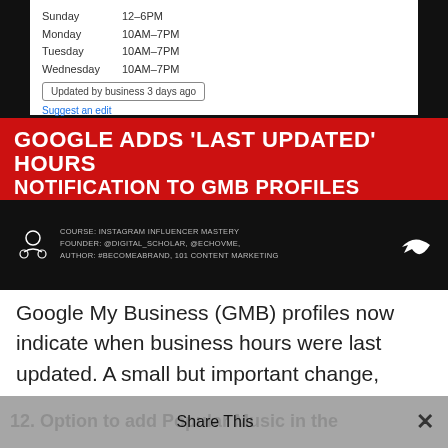[Figure (screenshot): Screenshot of a Google My Business profile showing business hours (Sunday 12-6PM, Monday 10AM-7PM, Tuesday 10AM-7PM, Wednesday 10AM-7PM) with a box reading 'Updated by business 3 days ago' and a 'Suggest an edit' link, overlaid with a dark background and red banner headline: GOOGLE ADDS 'LAST UPDATED' HOURS NOTIFICATION TO GMB PROFILES, with course attribution text at the bottom: COURSE: INSTAGRAM INFLUENCER MASTERY, FOUNDER: @DIGITAL_SCHOLAR, @ECHOVME, AUTHOR: #BECOMEABRAND, 101 CONTENT MARKETING, and an arrow icon.]
Google My Business (GMB) profiles now indicate when business hours were last updated. A small but important change, happened roughly two weeks ago.
12. Option to add Popular Music in the